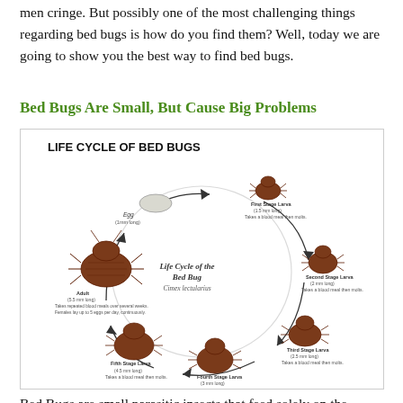men cringe. But possibly one of the most challenging things regarding bed bugs is how do you find them? Well, today we are going to show you the best way to find bed bugs.
Bed Bugs Are Small, But Cause Big Problems
[Figure (illustration): Life Cycle of Bed Bugs diagram showing circular life cycle stages: Egg (1mm long), First Stage Larva (1.5mm long, takes a blood meal then molts), Second Stage Larva (2mm long, takes a blood meal then molts), Third Stage Larva (2.5mm long, takes a blood meal then molts), Fourth Stage Larva (3mm long, takes a blood meal then molts), Fifth Stage Larva (4.5mm long, takes a blood meal then molts), Adult (5.5mm long, takes repeated blood meals over several weeks, females lay up to 5 eggs per day, continuously). Center text: Life Cycle of the Bed Bug, Cimex lectularius.]
Bed Bugs are small parasitic insects that feed solely on the